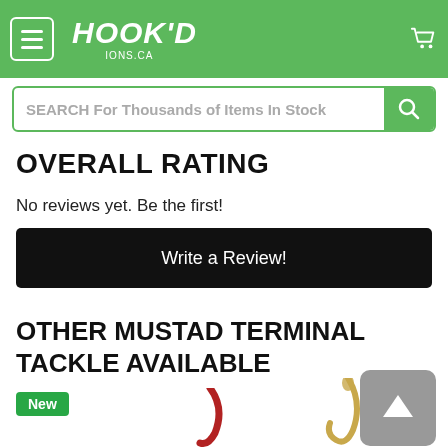[Figure (screenshot): Hook'd Tackle website header with green background, hamburger menu icon, Hook'd logo text, and shopping cart icon]
SEARCH For Thousands of Items In Stock
OVERALL RATING
No reviews yet. Be the first!
Write a Review!
OTHER MUSTAD TERMINAL TACKLE AVAILABLE
New
[Figure (photo): Red fishing hook bottom left, gold fishing hook bottom right, grey scroll-up button top right]